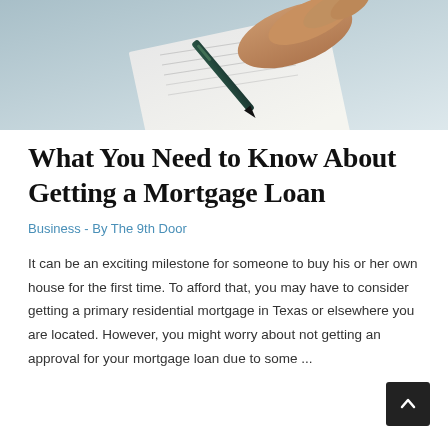[Figure (photo): Close-up photo of a hand holding a pen over a document, about to sign or write, with a light blue-gray background]
What You Need to Know About Getting a Mortgage Loan
Business - By The 9th Door
It can be an exciting milestone for someone to buy his or her own house for the first time. To afford that, you may have to consider getting a primary residential mortgage in Texas or elsewhere you are located. However, you might worry about not getting an approval for your mortgage loan due to some ...